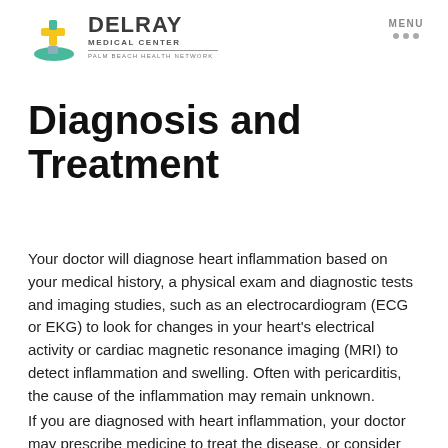[Figure (logo): Delray Medical Center logo with green/yellow cross icon and PALM BEACH HEALTH NETWORK subtitle]
Diagnosis and Treatment
Your doctor will diagnose heart inflammation based on your medical history, a physical exam and diagnostic tests and imaging studies, such as an electrocardiogram (ECG or EKG) to look for changes in your heart's electrical activity or cardiac magnetic resonance imaging (MRI) to detect inflammation and swelling. Often with pericarditis, the cause of the inflammation may remain unknown.
If you are diagnosed with heart inflammation, your doctor may prescribe medicine to treat the disease, or consider